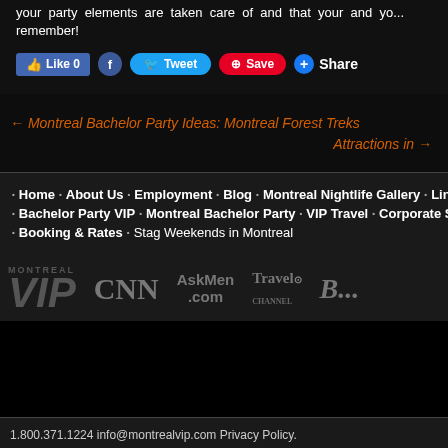your party elements are taken care of and that your and yo... remember!
[Figure (screenshot): Social media share buttons: Like 0 (Facebook), Tweet (Twitter), Save (Pinterest), Share (Google+)]
← Montreal Bachelor Party Ideas: Montreal Forest Treks
Attractions in →
Home • About Us • Employment • Blog • Montreal Nightlife Gallery • Link...
Bachelor Party VIP • Montreal Bachelor Party • VIP Travel • Corporate Serv...
Booking & Rates • Stag Weekends in Montreal
[Figure (logo): Logos: Montreal VIP, CNN, AskMen.com, Travel Channel, B (partial)]
1.800.371.1224 info@montrealvip.com Privacy Policy.